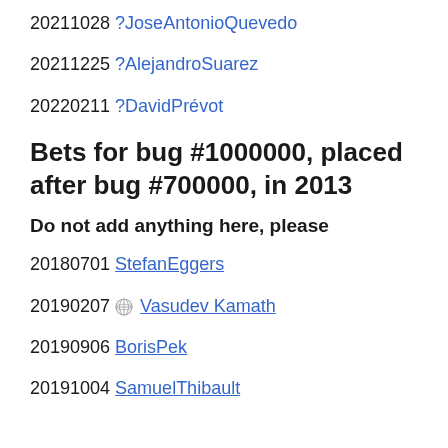20211028 ?JoseAntonioQuevedo
20211225 ?AlejandroSuarez
20220211 ?DavidPrévot
Bets for bug #1000000, placed after bug #700000, in 2013
Do not add anything here, please
20180701 StefanEggers
20190207 🌐 Vasudev Kamath
20190906 BorisPek
20191004 SamuelThibault